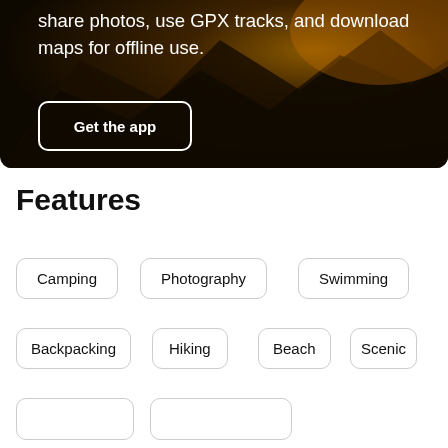[Figure (photo): Dark mountain landscape background image with orange/brown tones]
share photos, use GPX tracks, and download maps for offline use.
Get the app
Features
Camping
Photography
Swimming
Backpacking
Hiking
Beach
Scenic